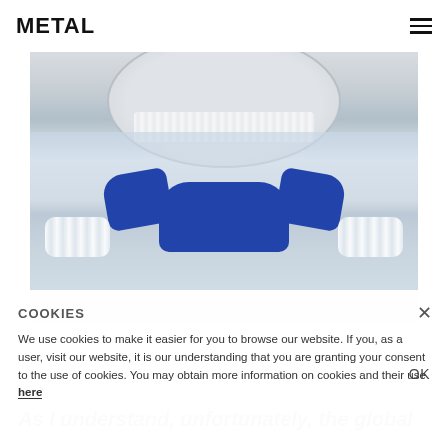METAL
[Figure (photo): Fashion editorial photo showing a figure wearing a large silver/grey wide-brimmed hat with white lace detail, white tulle/ruffled dress with frilly sleeves, and striking blue gloves with hands clasped together at center. The image is cropped to show from shoulders to mid-torso, with a light grey/white background.]
COOKIES
We use cookies to make it easier for you to browse our website. If you, as a user, visit our website, it is our understanding that you are granting your consent to the use of cookies. You may obtain more information on cookies and their use here
OK
As I understand, unfortunately, the global